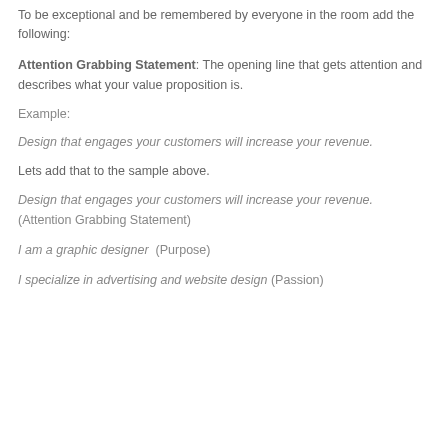To be exceptional and be remembered by everyone in the room add the following:
Attention Grabbing Statement: The opening line that gets attention and describes what your value proposition is.
Example:
Design that engages your customers will increase your revenue.
Lets add that to the sample above.
Design that engages your customers will increase your revenue.  (Attention Grabbing Statement)
I am a graphic designer  (Purpose)
I specialize in advertising and website design (Passion)